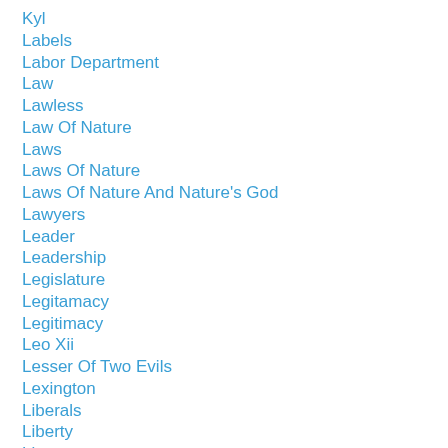Kyl
Labels
Labor Department
Law
Lawless
Law Of Nature
Laws
Laws Of Nature
Laws Of Nature And Nature's God
Lawyers
Leader
Leadership
Legislature
Legitamacy
Legitimacy
Leo Xii
Lesser Of Two Evils
Lexington
Liberals
Liberty
License